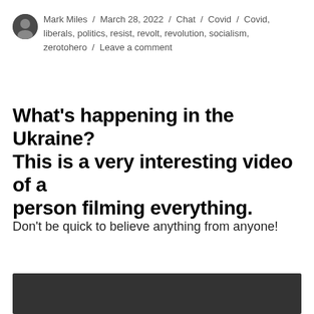Mark Miles / March 28, 2022 / Chat / Covid / Covid, liberals, politics, resist, revolt, revolution, socialism, zerotohero / Leave a comment
What’s happening in the Ukraine? This is a very interesting video of a person filming everything.
Don’t be quick to believe anything from anyone!
[Figure (screenshot): Dark/black video thumbnail area at the bottom of the page]